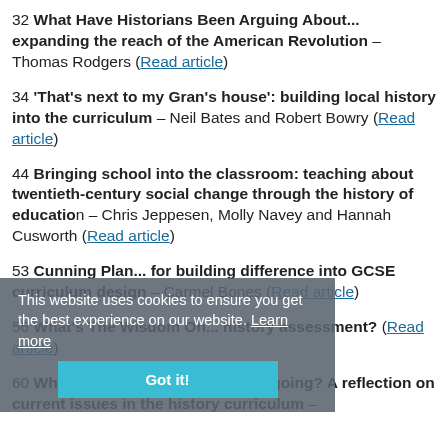32 What Have Historians Been Arguing About... expanding the reach of the American Revolution – Thomas Rodgers (Read article)
34 'That's next to my Gran's house': building local history into the curriculum – Neil Bates and Robert Bowry (Read article)
44 Bringing school into the classroom: teaching about twentieth-century social change through the history of education – Chris Jeppesen, Molly Navey and Hannah Cusworth (Read article)
53 Cunning Plan... for building difference into GCSE curriculum design – Carmel Bones (Read article)
56 What's The Wisdom On... history assessment? (Read article)
60 Where are we and where are we going? A reflection on current issues in the history curriculum –